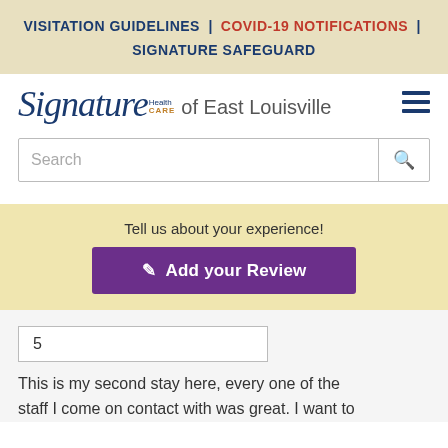VISITATION GUIDELINES | COVID-19 NOTIFICATIONS | SIGNATURE SAFEGUARD
[Figure (logo): Signature HealthCARE of East Louisville logo with hamburger menu icon]
Search
Tell us about your experience!
✏ Add your Review
5
This is my second stay here, every one of the staff I come on contact with was great. I want to